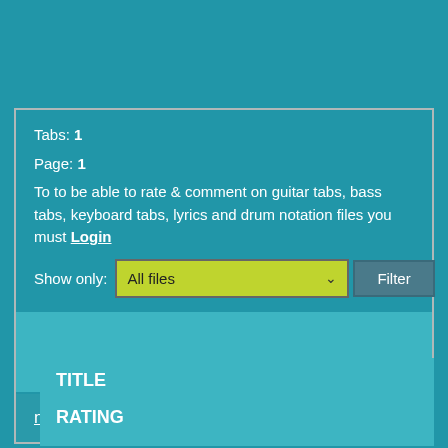Tabs: 1
Page: 1
To to be able to rate & comment on guitar tabs, bass tabs, keyboard tabs, lyrics and drum notation files you must Login
Show only: All files  Filter
man sold 215 views (0/5)
TITLE
RATING